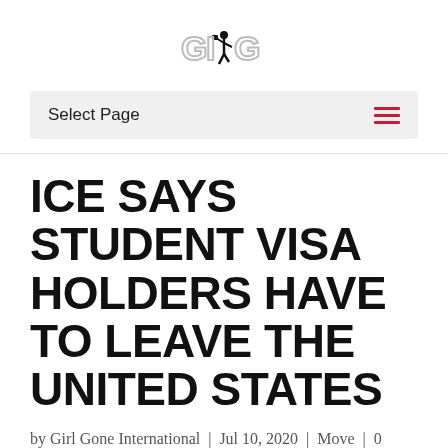GIGI (Girl Gone International logo)
Select Page
ICE SAYS STUDENT VISA HOLDERS HAVE TO LEAVE THE UNITED STATES
by Girl Gone International | Jul 10, 2020 | Move | 0 comments